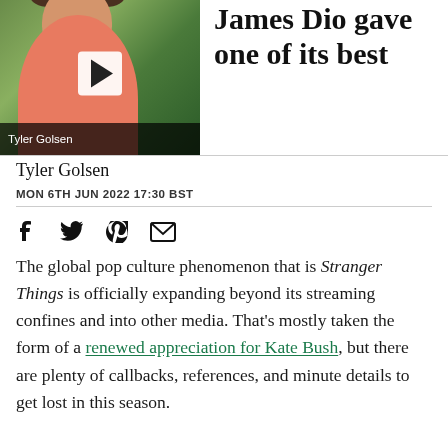[Figure (photo): Video thumbnail showing a person with long hair wearing a pink/red top, set against a green garden background with a white play button overlay. Bottom bar reads 'Tyler Golsen'.]
James Dio gave one of its best
Tyler Golsen
MON 6TH JUN 2022 17:30 BST
[Figure (infographic): Social media share icons: Facebook (f), Twitter (bird), Pinterest (P), Email (envelope)]
The global pop culture phenomenon that is Stranger Things is officially expanding beyond its streaming confines and into other media. That's mostly taken the form of a renewed appreciation for Kate Bush, but there are plenty of callbacks, references, and minute details to get lost in this season.